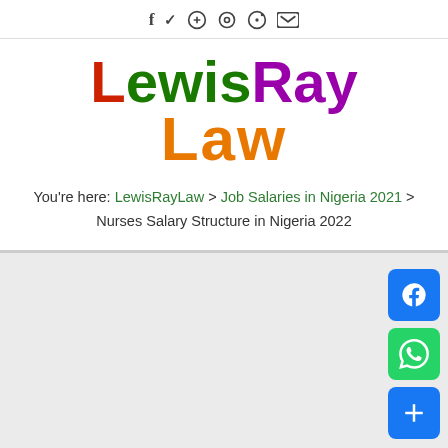f  y  G+  (instagram)  (pinterest)  (youtube)
[Figure (logo): LewisRayLaw logo with multicolored text: Lewis in red/green, Ray in purple, Law in orange]
You're here: LewisRayLaw > Job Salaries in Nigeria 2021 > Nurses Salary Structure in Nigeria 2022
[Figure (infographic): Social share buttons: Facebook (blue), WhatsApp (green), Add/More (blue)]